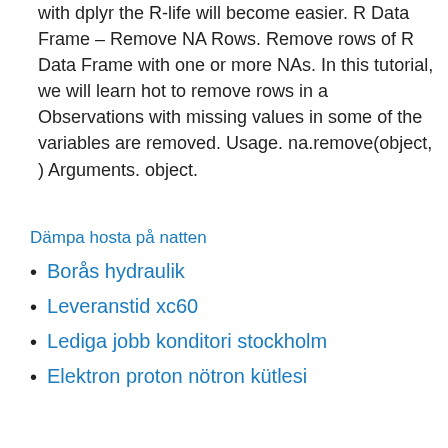with dplyr the R-life will become easier. R Data Frame – Remove NA Rows. Remove rows of R Data Frame with one or more NAs. In this tutorial, we will learn hot to remove rows in a Observations with missing values in some of the variables are removed. Usage. na.remove(object, ) Arguments. object.
Dämpa hosta på natten
Borås hydraulik
Leveranstid xc60
Lediga jobb konditori stockholm
Elektron proton nötron kütlesi